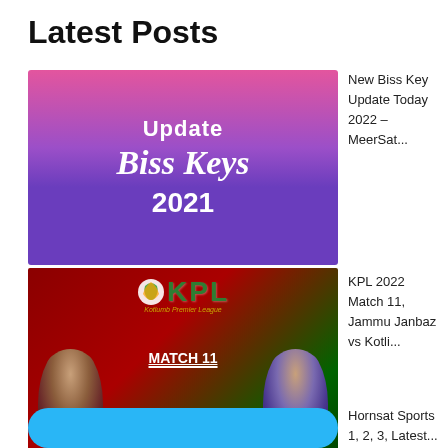Latest Posts
[Figure (illustration): Promotional image for Biss Keys 2021 update with gradient purple-pink background and white text reading 'Update Biss Keys 2021']
New Biss Key Update Today 2022 – MeerSat...
[Figure (illustration): KPL 2022 Match 11 promotional image showing Jammu Janbaz vs Kotli Lions with player photos on dark red and green background]
KPL 2022 Match 11, Jammu Janbaz vs Kotli...
[Figure (illustration): Partial view of a blue rounded rectangle image for Hornsat Sports]
Hornsat Sports 1, 2, 3, Latest...